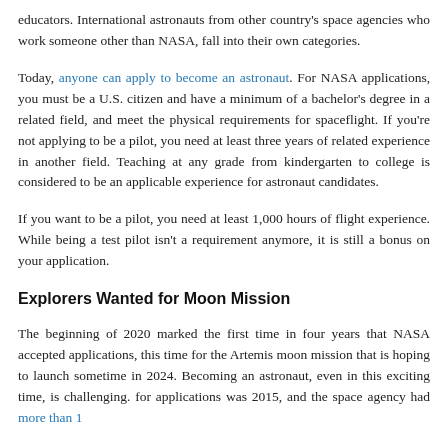educators. International astronauts from other country's space agencies who work someone other than NASA, fall into their own categories.
Today, anyone can apply to become an astronaut. For NASA applicants, you must be a U.S. citizen and have a minimum of a bachelor's degree in a related field, and meet the physical requirements for spaceflight. If you're not applying to be a pilot, you need at least three years of related experience in another field. Teaching at any grade from kindergarten to college is considered to be an applicable experience for astronaut candidates.
If you want to be a pilot, you need at least 1,000 hours of flight experience. While being a test pilot isn't a requirement anymore, it is still a bonus on your application.
Explorers Wanted for Moon Mission
The beginning of 2020 marked the first time in four years that NASA accepted applications, this time for the Artemis moon mission that is hoping to launch sometime in 2024. Becoming an astronaut, even in this exciting time, is challenging. The last time open for applications was 2015, and the space agency had more than 1...